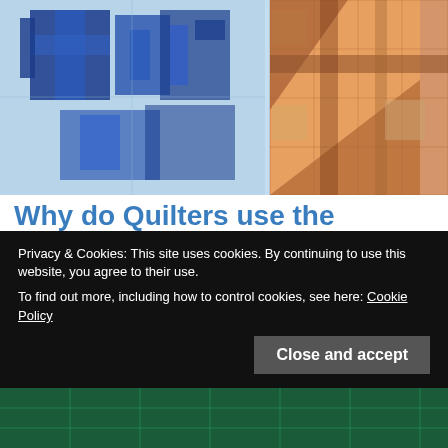[Figure (photo): Two quilts side by side: left quilt has blue geometric/abstract pattern on light blue background; right quilt has warm orange, brown, and tan diagonal stripe pattern.]
Why do Quilters use the Painter's Color Wheel?
I am taking a virtual quilting workshop that is basically a lot of fun, BUT, the instructor is relying on the traditional Red, Yellow and Blue
Privacy & Cookies: This site uses cookies. By continuing to use this website, you agree to their use.
To find out more, including how to control cookies, see here: Cookie Policy
Close and accept
[Figure (photo): Partial view of a green quilting cutting mat with grid lines.]